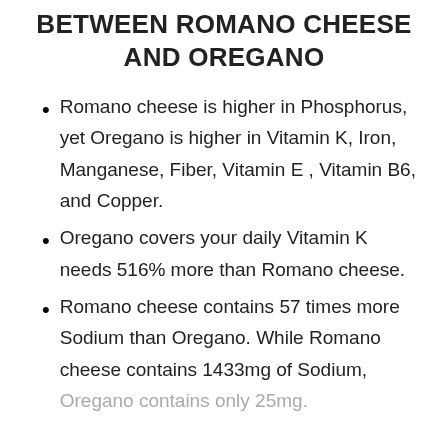BETWEEN ROMANO CHEESE AND OREGANO
Romano cheese is higher in Phosphorus, yet Oregano is higher in Vitamin K, Iron, Manganese, Fiber, Vitamin E , Vitamin B6, and Copper.
Oregano covers your daily Vitamin K needs 516% more than Romano cheese.
Romano cheese contains 57 times more Sodium than Oregano. While Romano cheese contains 1433mg of Sodium, Oregano contains only 25mg.